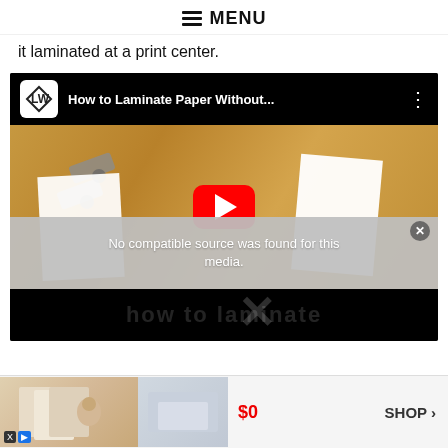MENU
it laminated at a print center.
[Figure (screenshot): YouTube video embed showing 'How to Laminate Paper Without...' with a play button overlay on a wooden table background with laminating pouches and metal clips. An error overlay reads 'No compatible source was found for this media.' with a close button.]
[Figure (screenshot): Advertisement banner showing household/bedding products with price $0 and a SHOP button.]